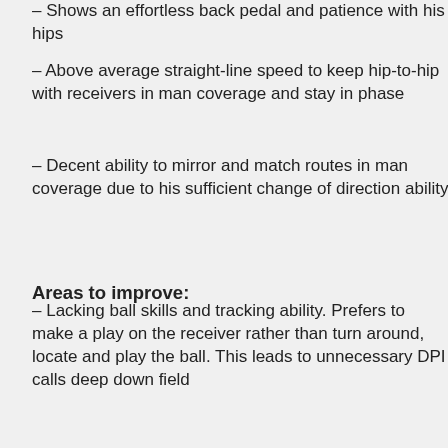– Shows an effortless back pedal and patience with his hips
– Above average straight-line speed to keep hip-to-hip with receivers in man coverage and stay in phase
– Decent ability to mirror and match routes in man coverage due to his sufficient change of direction ability
Areas to improve:
– Lacking ball skills and tracking ability. Prefers to make a play on the receiver rather than turn around, locate and play the ball. This leads to unnecessary DPI calls deep down field
– Tendency to over pursue due to lack of awareness in the run game
– Struggles to recognize routes while